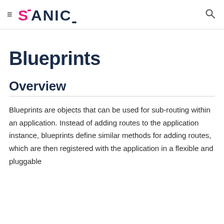≡ SANIC 🔍
Blueprints
Overview
Blueprints are objects that can be used for sub-routing within an application. Instead of adding routes to the application instance, blueprints define similar methods for adding routes, which are then registered with the application in a flexible and pluggable